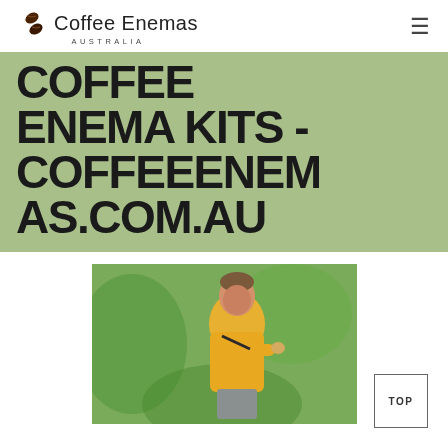Coffee Enemas AUSTRALIA
COFFEE ENEMA KITS - COFFEEENEMAS.COM.AU
[Figure (photo): A smiling man wearing a yellow jacket, holding something small in his hand, with green trees blurred in the background. A 'TOP' navigation button overlay appears in the bottom-right corner.]